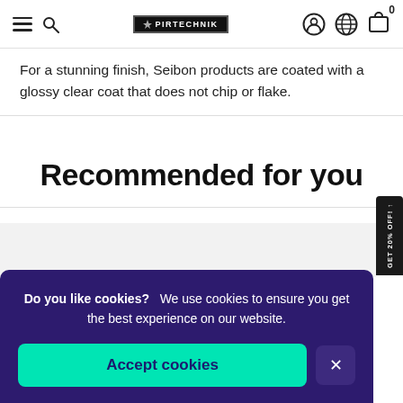PIR TECHNIK navigation bar with hamburger menu, search, logo, account, globe, and cart icons
For a stunning finish, Seibon products are coated with a glossy clear coat that does not chip or flake.
Recommended for you
Do you like cookies?  We use cookies to ensure you get the best experience on our website.
Accept cookies